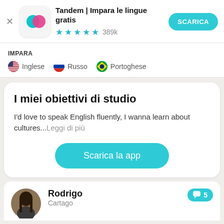[Figure (screenshot): App banner with close button, Tandem app icon, title, star rating, and download button]
Tandem | Impara le lingue gratis
★★★★½ 389k
IMPARA
🇺🇸 Inglese  🇷🇺 Russo  🇧🇷 Portoghese
I miei obiettivi di studio
I'd love to speak English fluently, I wanna learn about cultures...Leggi di più
Scarica la app
Rodrigo
Cartago
💬 5